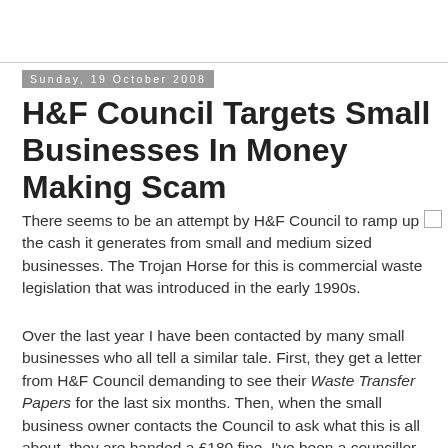Sunday, 19 October 2008
H&F Council Targets Small Businesses In Money Making Scam
There seems to be an attempt by H&F Council to ramp up the cash it generates from small and medium sized businesses. The Trojan Horse for this is commercial waste legislation that was introduced in the early 1990s.
Over the last year I have been contacted by many small businesses who all tell a similar tale. First, they get a letter from H&F Council demanding to see their Waste Transfer Papers for the last six months. Then, when the small business owner contacts the Council to ask what this is all about, they are handed a £180 fine. I've been a councillor for eleven years and I've never come across this before.
Don't get me wrong, I'm all in favour of people disposing of their waste responsibly and acting within the law. But, even